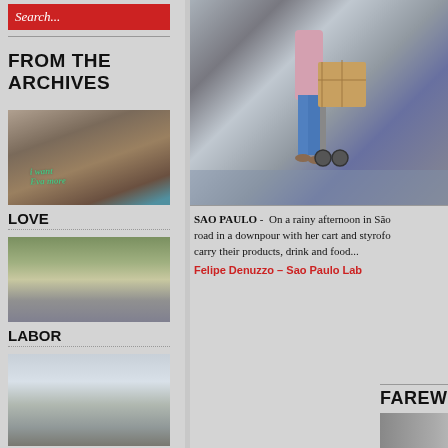Search...
FROM THE ARCHIVES
[Figure (photo): Graffiti on a concrete wall with green spray-painted text]
LOVE
[Figure (photo): Person on a heavily loaded vehicle or bicycle on a road with buildings and green hills in background]
LABOR
[Figure (photo): Street scene with buildings and urban landscape]
[Figure (photo): Person walking in rain pulling a cart with large box on wet street in Sao Paulo]
SAO PAULO -  On a rainy afternoon in São road in a downpour with her cart and styrofo carry their products, drink and food...
Felipe Denuzzo – Sao Paulo Lab
FAREWELL
[Figure (photo): Thumbnail image for Farewell section]
EART
[Figure (photo): Thumbnail image for Earth section]